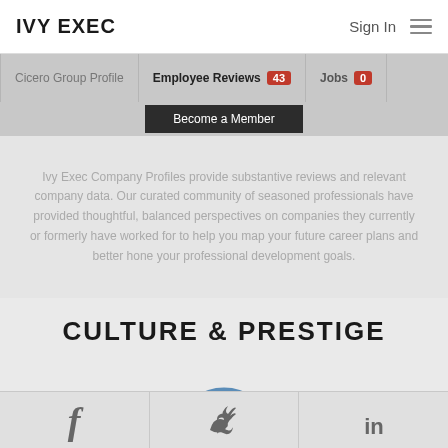IVY EXEC   Sign In
Cicero Group Profile | Employee Reviews 43 | Jobs 0
Become a Member
Ivy Exec Company Profiles provide substantive reviews and relevant company data. Our curated community of seasoned professionals have provided thoughtful, balanced perspectives on companies they currently or formerly have worked for to help you map your future career plans and better hone your professional development goals.
CULTURE & PRESTIGE
[Figure (other): A gauge/donut arc showing 100%]
f   Twitter bird   in